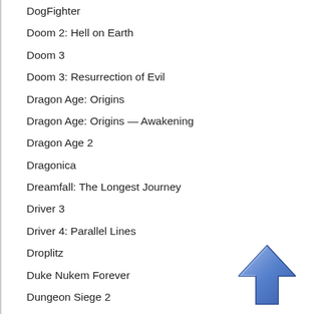DogFighter
Doom 2: Hell on Earth
Doom 3
Doom 3: Resurrection of Evil
Dragon Age: Origins
Dragon Age: Origins — Awakening
Dragon Age 2
Dragonica
Dreamfall: The Longest Journey
Driver 3
Driver 4: Parallel Lines
Droplitz
Duke Nukem Forever
Dungeon Siege 2
Dungeon Siege 3
Dungeonland
[Figure (illustration): Blue upward-pointing arrow icon in the bottom-right corner]